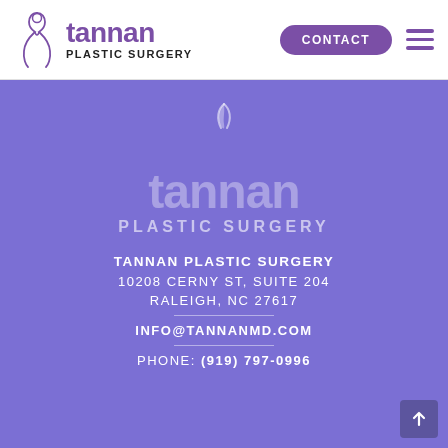[Figure (logo): Tannan Plastic Surgery logo in header with purple figure outline and purple wordmark]
CONTACT
[Figure (logo): Large Tannan Plastic Surgery logo centered on purple background]
TANNAN PLASTIC SURGERY
10208 CERNY ST, SUITE 204
RALEIGH, NC 27617
INFO@TANNANMD.COM
PHONE: (919) 797-0996